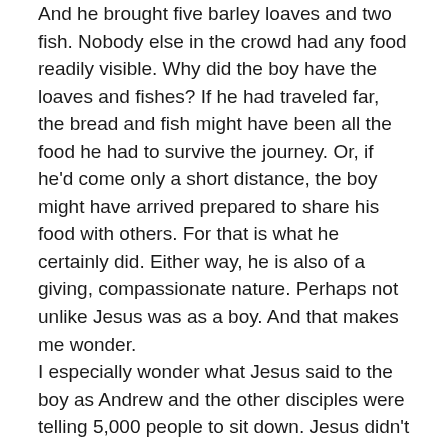And he brought five barley loaves and two fish. Nobody else in the crowd had any food readily visible. Why did the boy have the loaves and fishes? If he had traveled far, the bread and fish might have been all the food he had to survive the journey. Or, if he'd come only a short distance, the boy might have arrived prepared to share his food with others. For that is what he certainly did. Either way, he is also of a giving, compassionate nature. Perhaps not unlike Jesus was as a boy. And that makes me wonder.
I especially wonder what Jesus said to the boy as Andrew and the other disciples were telling 5,000 people to sit down. Jesus didn't just walk up and take the five barley loaves and two fish from the youngster. Of course not. He would have spoken to the boy about the hunger of the people all around him, and the wondrous possibilities if the boy gave him the loaves and fishes.